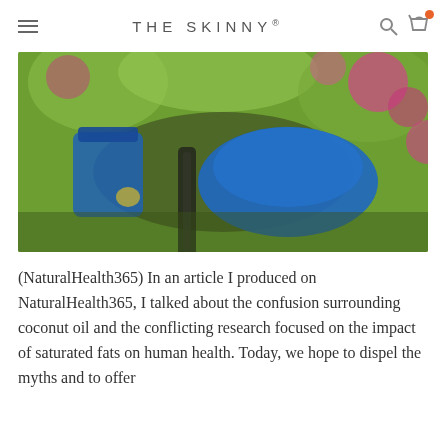THE SKINNY®
[Figure (photo): Blurred outdoor photo showing blue objects (possibly containers or jars) against a background of green foliage and pink/magenta flowers]
(NaturalHealth365) In an article I produced on NaturalHealth365, I talked about the confusion surrounding coconut oil and the conflicting research focused on the impact of saturated fats on human health. Today, we hope to dispel the myths and to offer